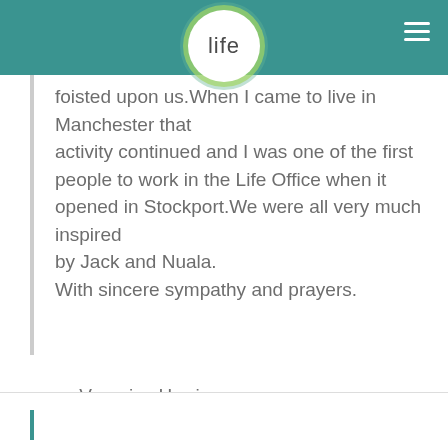life
foisted upon us.When I came to live in Manchester that activity continued and I was one of the first people to work in the Life Office when it opened in Stockport.We were all very much inspired by Jack and Nuala. With sincere sympathy and prayers.
— Veronica Harrison